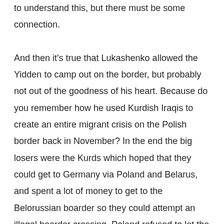to understand this, but there must be some connection.

And then it's true that Lukashenko allowed the Yidden to camp out on the border, but probably not out of the goodness of his heart. Because do you remember how he used Kurdish Iraqis to create an entire migrant crisis on the Polish border back in November? In the end the big losers were the Kurds which hoped that they could get to Germany via Poland and Belarus, and spent a lot of money to get to the Belorussian boarder so they could attempt an illegal boarder crossing. Poland refused to let the migrants in (rightfully so, because they did not have VISAs and